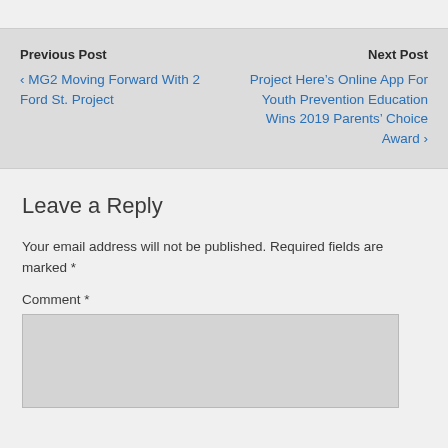Previous Post
‹ MG2 Moving Forward With 2 Ford St. Project
Next Post
 Project Here’s Online App For Youth Prevention Education Wins 2019 Parents’ Choice Award ›
Leave a Reply
Your email address will not be published. Required fields are marked *
Comment *